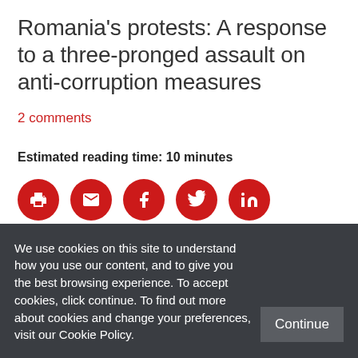Romania's protests: A response to a three-pronged assault on anti-corruption measures
2 comments
Estimated reading time: 10 minutes
[Figure (infographic): Five red circular social sharing icons: print, email, Facebook, Twitter, LinkedIn]
Romania has witnessed large anti-
We use cookies on this site to understand how you use our content, and to give you the best browsing experience. To accept cookies, click continue. To find out more about cookies and change your preferences, visit our Cookie Policy.